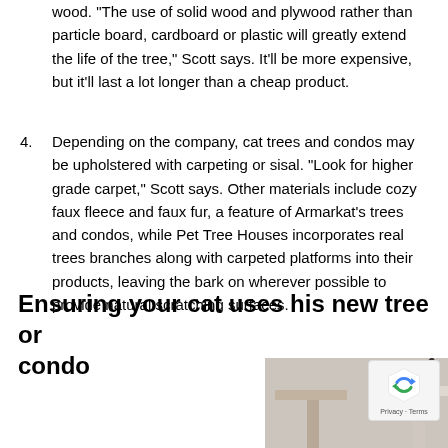wood. "The use of solid wood and plywood rather than particle board, cardboard or plastic will greatly extend the life of the tree," Scott says. It'll be more expensive, but it'll last a lot longer than a cheap product.
4. Depending on the company, cat trees and condos may be upholstered with carpeting or sisal. "Look for higher grade carpet," Scott says. Other materials include cozy faux fleece and faux fur, a feature of Armarkat's trees and condos, while Pet Tree Houses incorporates real trees branches along with carpeted platforms into their products, leaving the bark on wherever possible to provide natural scratching surfaces.
Ensuring your cat uses his new tree or condo
[Figure (photo): Photo of a small cat perched on top of a cat tree platform, with another platform visible to the left. Light grey/beige background. A reCAPTCHA badge is visible in the lower right corner.]